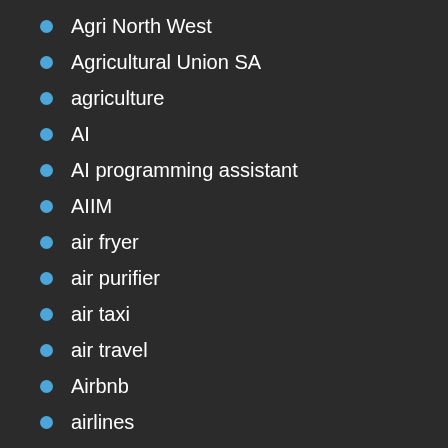Agri North West
Agricultural Union SA
agriculture
AI
AI programming assistant
AIIM
air fryer
air purifier
air taxi
air travel
Airbnb
airlines
Airlink
airports